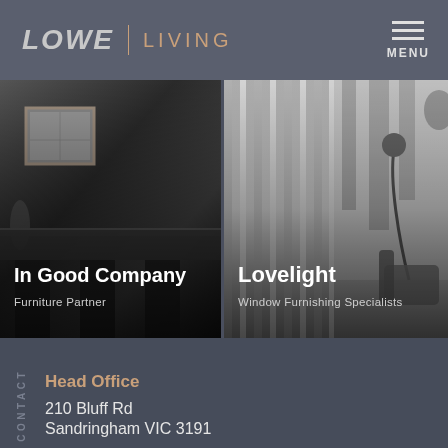LOWE | LIVING
[Figure (photo): Left panel: black and white interior photo showing a room with a framed artwork on wall, dark furniture. Text overlay: 'In Good Company' and 'Furniture Partner']
[Figure (photo): Right panel: black and white interior photo showing sheer curtains by window with a floor lamp and armchair. Text overlay: 'Lovelight' and 'Window Furnishing Specialists']
CONTACT
Head Office
210 Bluff Rd
Sandringham VIC 3191